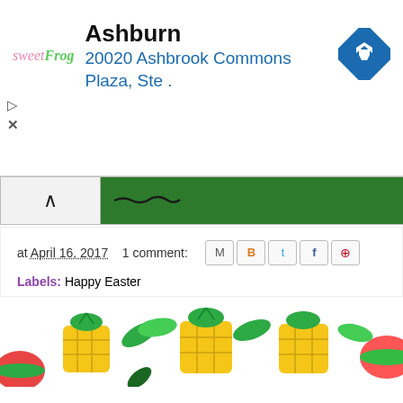[Figure (screenshot): Advertisement banner for sweetFrog frozen yogurt, Ashburn location at 20020 Ashbrook Commons Plaza, Ste., with navigation diamond icon]
[Figure (screenshot): Collapse/expand bar with caret icon and green header bar with dark wavy line]
at April 16, 2017    1 comment:
Labels: Happy Easter
[Figure (illustration): Colorful tropical fruit pattern divider with pineapples, watermelons, and leaves]
Unicorn Playing Cards
[Figure (photo): Photo of a playing cards box labeled PLAYING CARDS with unicorn artwork, inside a purple-bordered frame on wooden surface]